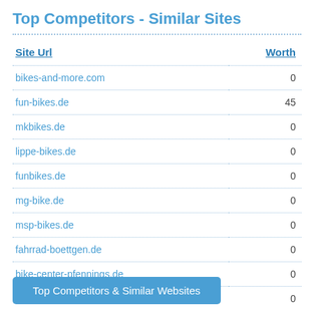Top Competitors - Similar Sites
| Site Url | Worth |
| --- | --- |
| bikes-and-more.com | 0 |
| fun-bikes.de | 45 |
| mkbikes.de | 0 |
| lippe-bikes.de | 0 |
| funbikes.de | 0 |
| mg-bike.de | 0 |
| msp-bikes.de | 0 |
| fahrrad-boettgen.de | 0 |
| bike-center-pfennings.de | 0 |
| wm-bike.de | 0 |
Top Competitors & Similar Websites